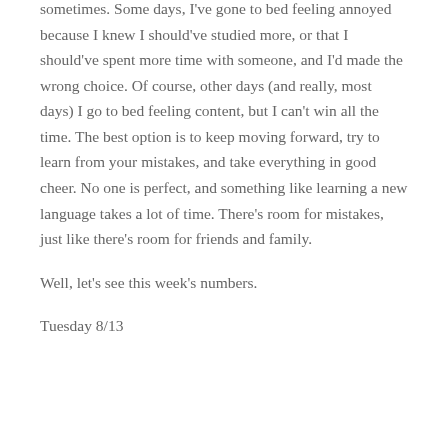sometimes. Some days, I've gone to bed feeling annoyed because I knew I should've studied more, or that I should've spent more time with someone, and I'd made the wrong choice. Of course, other days (and really, most days) I go to bed feeling content, but I can't win all the time. The best option is to keep moving forward, try to learn from your mistakes, and take everything in good cheer. No one is perfect, and something like learning a new language takes a lot of time. There's room for mistakes, just like there's room for friends and family.
Well, let's see this week's numbers.
Tuesday 8/13